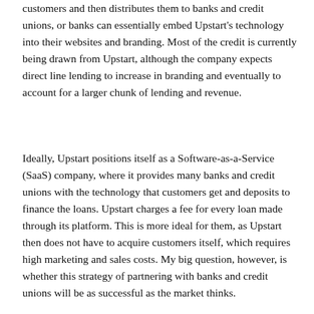customers and then distributes them to banks and credit unions, or banks can essentially embed Upstart's technology into their websites and branding. Most of the credit is currently being drawn from Upstart, although the company expects direct line lending to increase in branding and eventually to account for a larger chunk of lending and revenue.
Ideally, Upstart positions itself as a Software-as-a-Service (SaaS) company, where it provides many banks and credit unions with the technology that customers get and deposits to finance the loans. Upstart charges a fee for every loan made through its platform. This is more ideal for them, as Upstart then does not have to acquire customers itself, which requires high marketing and sales costs. My big question, however, is whether this strategy of partnering with banks and credit unions will be as successful as the market thinks.